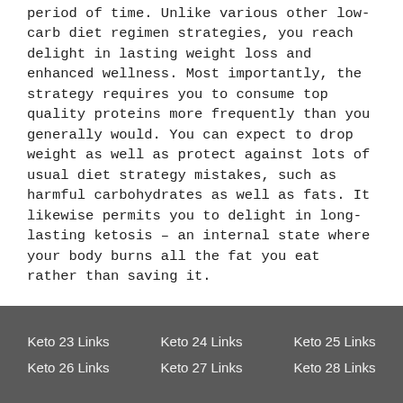period of time. Unlike various other low-carb diet regimen strategies, you reach delight in lasting weight loss and enhanced wellness. Most importantly, the strategy requires you to consume top quality proteins more frequently than you generally would. You can expect to drop weight as well as protect against lots of usual diet strategy mistakes, such as harmful carbohydrates as well as fats. It likewise permits you to delight in long-lasting ketosis – an internal state where your body burns all the fat you eat rather than saving it.
Keto 23 Links  Keto 24 Links  Keto 25 Links  Keto 26 Links  Keto 27 Links  Keto 28 Links